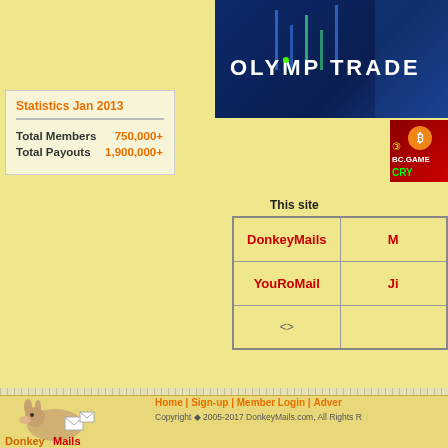Statistics Jan 2013
| Total Members | 750,000+ |
| Total Payouts | 1,900,000+ |
[Figure (photo): Olymp Trade banner advertisement with candlestick chart and person using phone in background]
[Figure (photo): BC.GAME cryptocurrency advertisement banner with Bitcoin symbol, red background and green text]
This site
| DonkeyMails |  |
| YouRoMail | Ji |
| <> |  |
Home | Sign-up | Member Login | Adver
Copyright 2005-2017 DonkeyMails.com, All Rights R